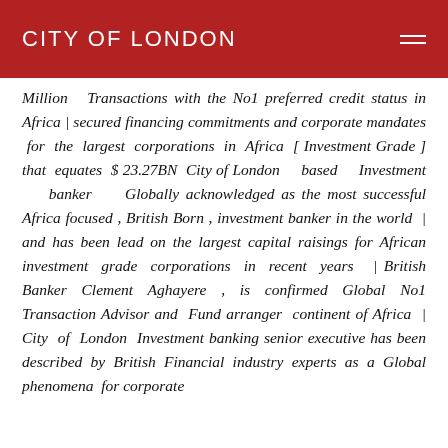CITY OF LONDON
Million Transactions with the No1 preferred credit status in Africa | secured financing commitments and corporate mandates for the largest corporations in Africa [ Investment Grade ] that equates $ 23.27BN City of London based Investment banker Globally acknowledged as the most successful Africa focused , British Born , investment banker in the world | and has been lead on the largest capital raisings for African investment grade corporations in recent years | British Banker Clement Aghayere , is confirmed Global No1 Transaction Advisor and Fund arranger continent of Africa | City of London Investment banking senior executive has been described by British Financial industry experts as a Global phenomena for corporate